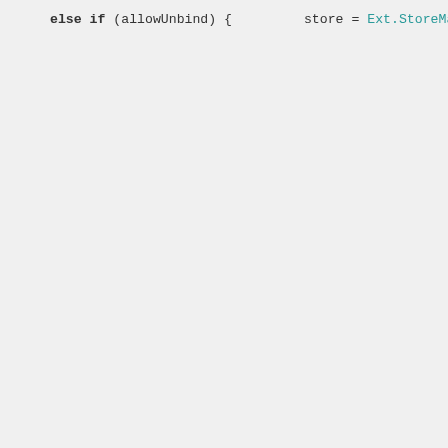[Figure (screenshot): Source code snippet in a monospace code viewer with light gray background showing JavaScript/ExtJS code with syntax highlighting: keywords in bold black, function/method names in teal/cyan, string literals in red, comments in gray italic.]